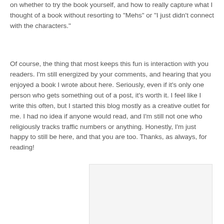on whether to try the book yourself, and how to really capture what I thought of a book without resorting to "Mehs" or "I just didn't connect with the characters."
Of course, the thing that most keeps this fun is interaction with you readers. I'm still energized by your comments, and hearing that you enjoyed a book I wrote about here. Seriously, even if it's only one person who gets something out of a post, it's worth it. I feel like I write this often, but I started this blog mostly as a creative outlet for me. I had no idea if anyone would read, and I'm still not one who religiously tracks traffic numbers or anything. Honestly, I'm just happy to still be here, and that you are too. Thanks, as always, for reading!
[Figure (other): Partially visible image placeholder box with light gray background]